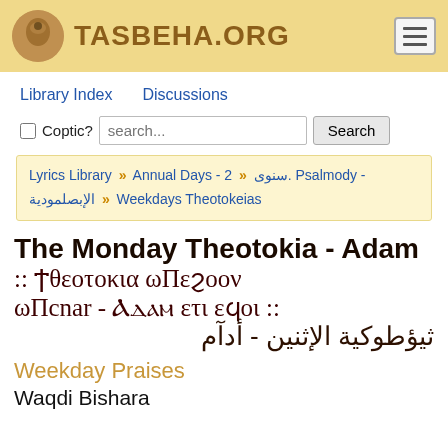TASBEHA.ORG
Library Index   Discussions
Coptic? search... Search
Lyrics Library » Annual Days - 2 » سنوى. Psalmody - الإبصلمودية » Weekdays Theotokeias
The Monday Theotokia - Adam :: Ϯθεοτοκια ωΠεϩοον ωΠcnar - Ⲁⲇⲁⲙ ετι εϥοι :: ثيؤطوكية الإثنين - أدآم
Weekday Praises
Waqdi Bishara